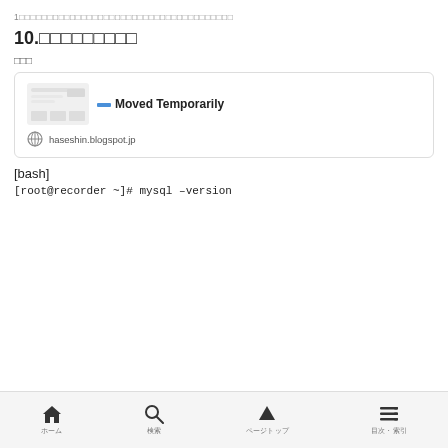1□□□□□□□□□□□□□□□□□□□□□□□□□□□□□□□□□□
10.□□□□□□□□□
□□□
[Figure (screenshot): A card-style UI element showing 'Moved Temporarily' in bold with a blue dash icon, a thumbnail preview of a webpage on the left, and the URL 'haseshin.blogspot.jp' with a globe icon below.]
[bash]
[root@recorder ~]# mysql –version
ホーム　検索　ページトップ　目次・索引